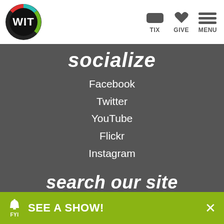[Figure (logo): WIT logo: black circle with colorful ring (red, green, teal) and white text WIT inside]
TIX  GIVE  MENU
socialize
Facebook
Twitter
YouTube
Flickr
Instagram
search our site
enter question here
SEE A SHOW!  FYI